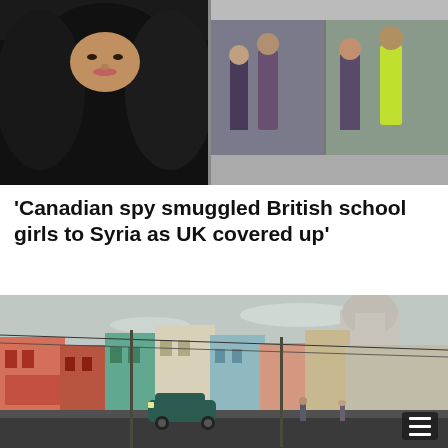[Figure (photo): Top composite image: left side shows a woman in a black hijab/niqab; right side shows two CCTV-style images of people walking in a corridor]
'Canadian spy smuggled British school girls to Syria as UK covered up'
[Figure (photo): Street scene of colourful colonial buildings with a domed capitol-style building in the background, a vintage car on the road, and pedestrians]